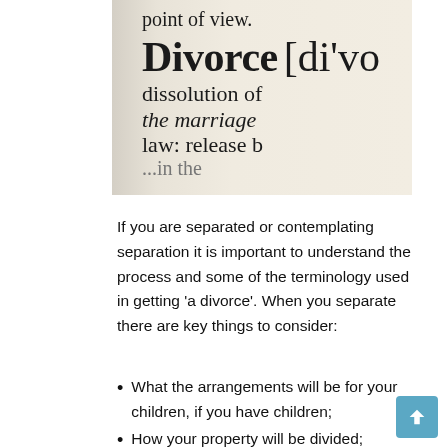[Figure (photo): Close-up photograph of a dictionary page showing the entry for 'Divorce' with bold text and partial definition: [di'vo dissolution of the marriage law: release...]
If you are separated or contemplating separation it is important to understand the process and some of the terminology used in getting 'a divorce'.  When you separate there are key things to consider:
What the arrangements will be for your children, if you have children;
How your property will be divided;
What income you might need to